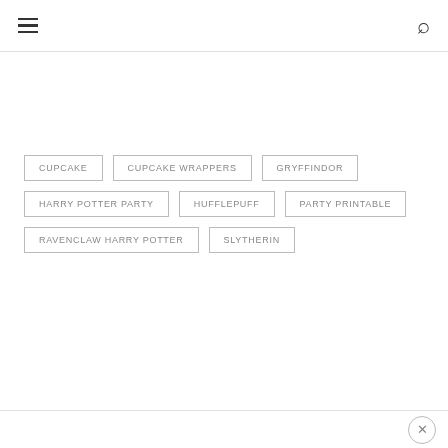Menu | Search
CUPCAKE
CUPCAKE WRAPPERS
GRYFFINDOR
HARRY POTTER PARTY
HUFFLEPUFF
PARTY PRINTABLE
RAVENCLAW HARRY POTTER
SLYTHERIN
×